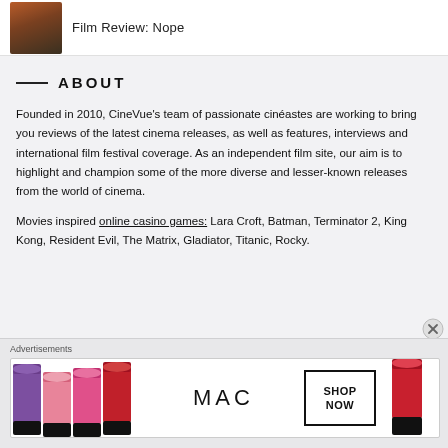Film Review: Nope
ABOUT
Founded in 2010, CineVue's team of passionate cinéastes are working to bring you reviews of the latest cinema releases, as well as features, interviews and international film festival coverage. As an independent film site, our aim is to highlight and champion some of the more diverse and lesser-known releases from the world of cinema.
Movies inspired online casino games: Lara Croft, Batman, Terminator 2, King Kong, Resident Evil, The Matrix, Gladiator, Titanic, Rocky.
Advertisements
[Figure (photo): MAC cosmetics advertisement banner showing lipstick products in purple, pink, and red with MAC logo and SHOP NOW button]